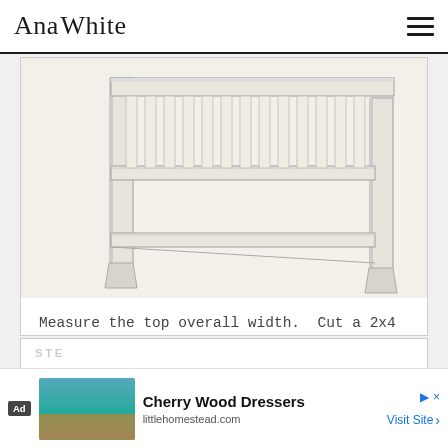Ana White
[Figure (illustration): Woodworking diagram showing the top portion of a headboard with vertical slats and horizontal rails, viewed from a slight angle. The structure shows legs, rails, and evenly spaced vertical pickets at the top.]
Measure the top overall width. Cut a 2x4 to this width. Attach with glue and screws to top of headboard.
STE